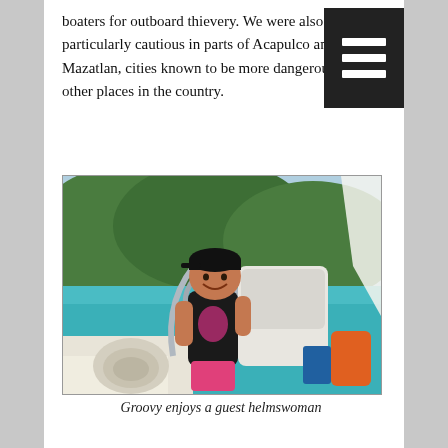boaters for outboard thievery. We were also particularly cautious in parts of Acapulco and Mazatlan, cities known to be more dangerous than other places in the country.
[Figure (photo): A young girl smiling at the helm of a sailboat, with turquoise water and green hills in the background. She is wearing a black cap and dark top, gripping the steel steering wheel.]
Groovy enjoys a guest helmswoman